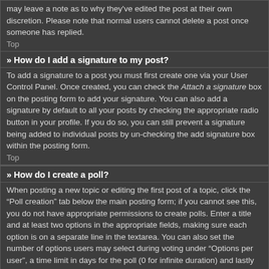may leave a note as to why they've edited the post at their own discretion. Please note that normal users cannot delete a post once someone has replied.
Top
» How do I add a signature to my post?
To add a signature to a post you must first create one via your User Control Panel. Once created, you can check the Attach a signature box on the posting form to add your signature. You can also add a signature by default to all your posts by checking the appropriate radio button in your profile. If you do so, you can still prevent a signature being added to individual posts by un-checking the add signature box within the posting form.
Top
» How do I create a poll?
When posting a new topic or editing the first post of a topic, click the “Poll creation” tab below the main posting form; if you cannot see this, you do not have appropriate permissions to create polls. Enter a title and at least two options in the appropriate fields, making sure each option is on a separate line in the textarea. You can also set the number of options users may select during voting under “Options per user”, a time limit in days for the poll (0 for infinite duration) and lastly the option to allow users to amend their votes.
Top
» Why can't I add more poll options?